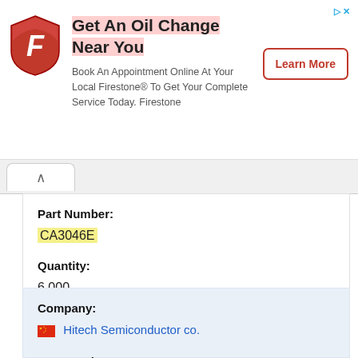[Figure (other): Firestone advertisement banner with logo, text 'Get An Oil Change Near You', and 'Learn More' button]
Part Number:
CA3046E
Quantity:
6 000
Company:
Hitech Semiconductor co.
Part Number: